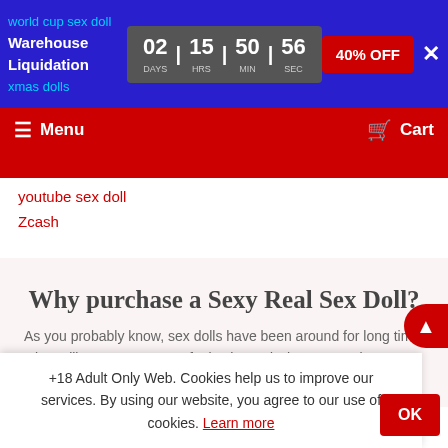world cup sex doll
Warehouse Liquidation
xmas dolls | 02 DAYS | 15 HRS | 50 MIN | 56 SEC | 40% OFF
Menu | Cart
youtube sex doll
Zcash
Why purchase a Sexy Real Sex Doll?
As you probably know, sex dolls have been around for long time, but still many customers feel ashamed when contacting us or requesting information about sex dolls as if sex dolls wer...
+18 Adult Only Web. Cookies help us to improve our services. By using our website, you agree to our use of cookies. Learn more